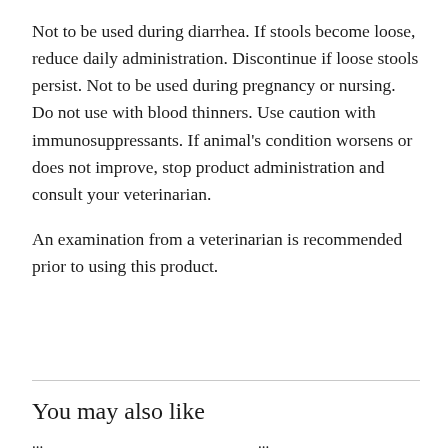Not to be used during diarrhea. If stools become loose, reduce daily administration. Discontinue if loose stools persist. Not to be used during pregnancy or nursing. Do not use with blood thinners. Use caution with immunosuppressants. If animal's condition worsens or does not improve, stop product administration and consult your veterinarian.

An examination from a veterinarian is recommended prior to using this product.
You may also like
...
...
...
...